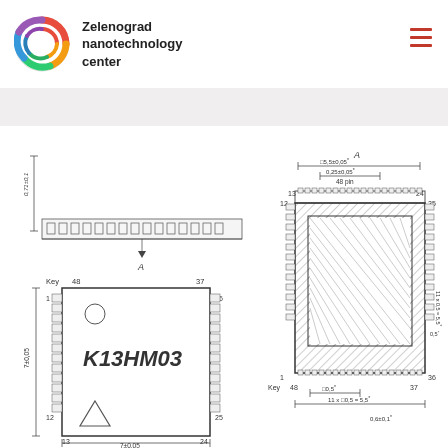Zelenograd nanotechnology center
[Figure (schematic): Engineering schematic drawing of IC chip K13HM03 showing top view and side cross-section with pin layout. Top view shows 48-pin package (pins 1-12 on left, 12-25 on right, 13-24 on top, 25-37 on bottom) with key marker, dimensions 7±0.05 x 7±0.05 mm, and symbols for circle and triangle. Cross-section view A-A shows pin spacing 0.25±0.05mm for 48 pins, width 5.5±0.05mm, height 5.5mm, pitch 11x0.5=5.5mm, 0.5mm and 0.6±0.1 dimensions.]